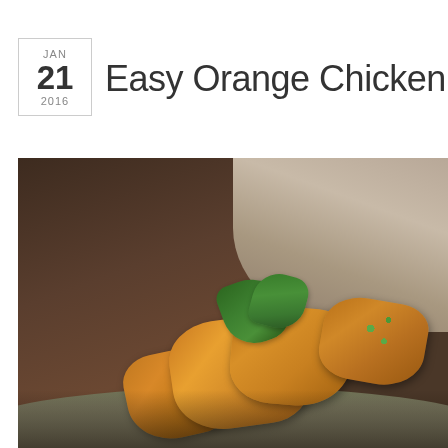JAN 21 2016
Easy Orange Chicken over Brown
[Figure (photo): Close-up photo of orange chicken pieces garnished with green herbs, with a blurred dark wood background and light stone/ceramic surface in the background]